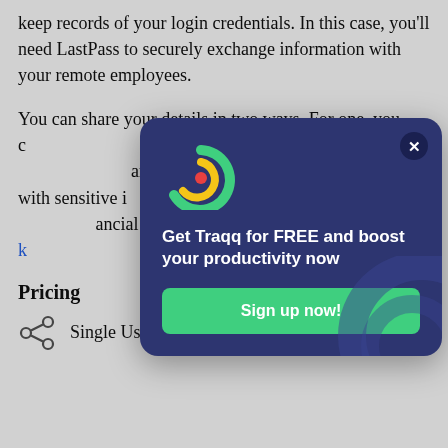keep records of your login credentials. In this case, you'll need LastPass to securely exchange information with your remote employees.
You can share your details in two ways. For one, you c... rd and let them see ... and, you can also s... with sensitive i... u're worried ab... ancial details, yo... y that LastPass k... n secure.
[Figure (infographic): Traqq promotional popup with logo, headline 'Get Traqq for FREE and boost your productivity now', and a 'Sign up now!' button on dark blue background]
Pricing
Single Users and Families